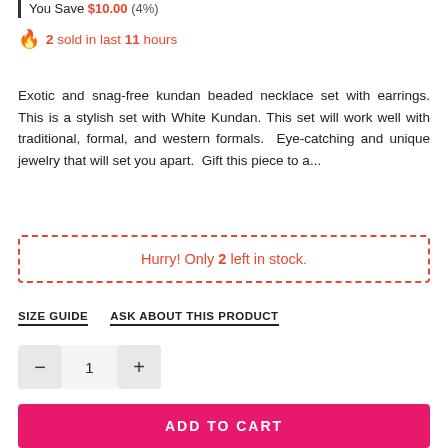| You Save $10.00 (4%)
🔥 2 sold in last 11 hours
Exotic and snag-free kundan beaded necklace set with earrings. This is a stylish set with White Kundan. This set will work well with traditional, formal, and western formals. Eye-catching and unique jewelry that will set you apart. Gift this piece to a...
Hurry! Only 2 left in stock.
SIZE GUIDE   ASK ABOUT THIS PRODUCT
− 1 +
ADD TO CART
Add To Wishlist